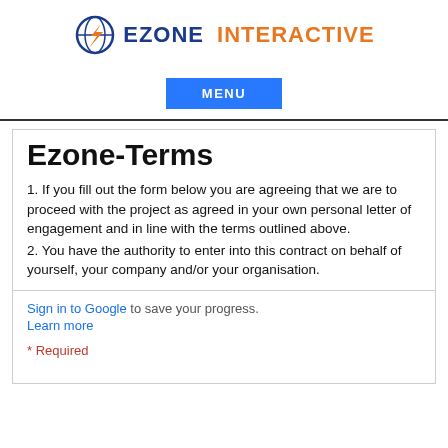[Figure (logo): Ezone Interactive logo with circular globe icon in dark blue and orange, followed by text EZONE in dark blue and INTERACTIVE in orange]
MENU
Ezone-Terms
1. If you fill out the form below you are agreeing that we are to proceed with the project as agreed in your own personal letter of engagement and in line with the terms outlined above.
2. You have the authority to enter into this contract on behalf of yourself, your company and/or your organisation.
Sign in to Google to save your progress. Learn more
* Required